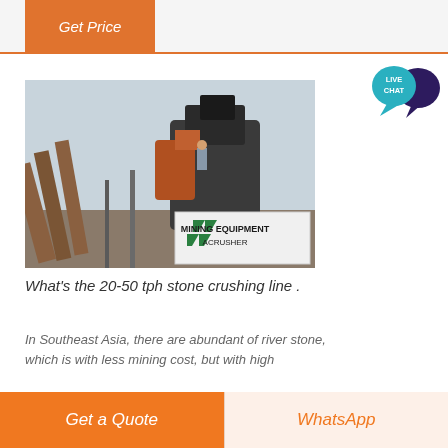Get Price
[Figure (photo): Mining equipment / stone crushing plant with conveyor belts and a crusher machine; a person stands on the equipment. A sign reads 'MINING EQUIPMENT ACRUSHER' with green logo marks.]
What's the 20-50 tph stone crushing line .
In Southeast Asia, there are abundant of river stone, which is with less mining cost, but with high
Get a Quote   WhatsApp